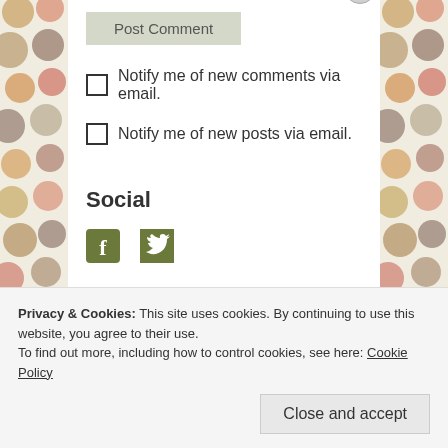[Figure (screenshot): Post Comment button - gray/olive colored button]
Notify me of new comments via email.
Notify me of new posts via email.
Social
[Figure (illustration): Facebook and Twitter social media icons in olive/dark green color]
[Figure (illustration): Follow momlifehacker button - blue WordPress follow button]
Privacy & Cookies: This site uses cookies. By continuing to use this website, you agree to their use.
To find out more, including how to control cookies, see here: Cookie Policy
Close and accept